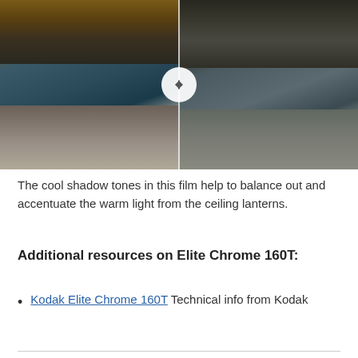[Figure (photo): Side-by-side comparison photo of an industrial or warehouse interior space with exposed ceiling beams and brick walls. Left side shows warmer tones with orange/golden light from ceiling; right side shows cooler, more neutral tones. A circular toggle icon with left/right arrows sits at the center divider.]
The cool shadow tones in this film help to balance out and accentuate the warm light from the ceiling lanterns.
Additional resources on Elite Chrome 160T:
Kodak Elite Chrome 160T Technical info from Kodak